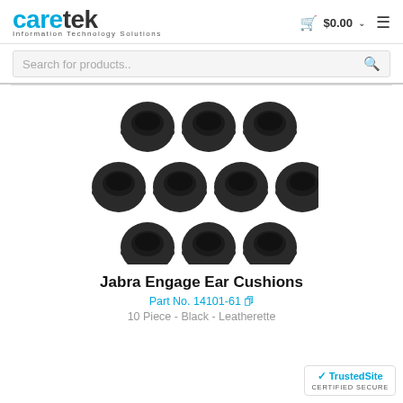[Figure (logo): Caretek Information Technology Solutions logo with blue 'care' and dark 'tek' text]
$0.00
Search for products..
[Figure (photo): Ten round black leatherette ear cushions arranged in three rows (3-4-3 pattern) on white background]
Jabra Engage Ear Cushions
Part No. 14101-61
10 Piece - Black - Leatherette
[Figure (logo): TrustedSite Certified Secure badge]